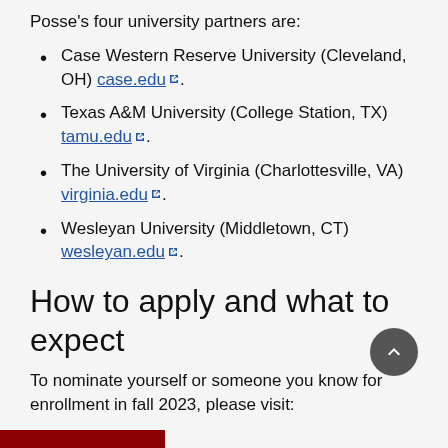Posse's four university partners are:
Case Western Reserve University (Cleveland, OH) case.edu.
Texas A&M University (College Station, TX) tamu.edu.
The University of Virginia (Charlottesville, VA) virginia.edu.
Wesleyan University (Middletown, CT) wesleyan.edu.
How to apply and what to expect
To nominate yourself or someone you know for enrollment in fall 2023, please visit: